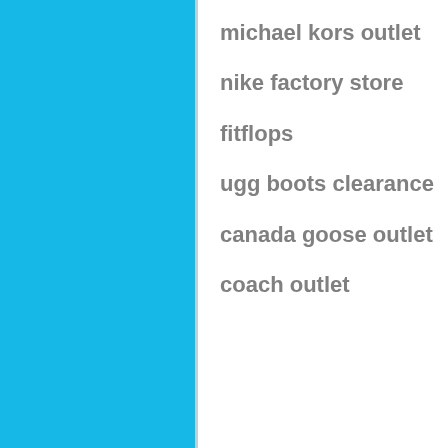michael kors outlet
nike factory store
fitflops
ugg boots clearance
canada goose outlet
coach outlet